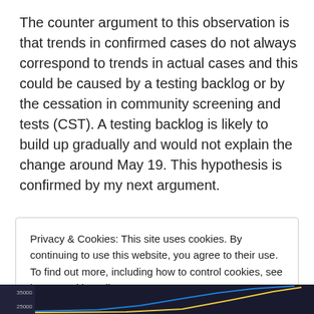The counter argument to this observation is that trends in confirmed cases do not always correspond to trends in actual cases and this could be caused by a testing backlog or by the cessation in community screening and tests (CST). A testing backlog is likely to build up gradually and would not explain the change around May 19. This hypothesis is confirmed by my next argument.
Privacy & Cookies: This site uses cookies. By continuing to use this website, you agree to their use.
To find out more, including how to control cookies, see here: Cookie Policy
Close and accept
[Figure (other): Partially visible chart strip at the bottom of the page showing a dark background with chart lines (blue and yellow) and axis labels including 35000 and 25000.]